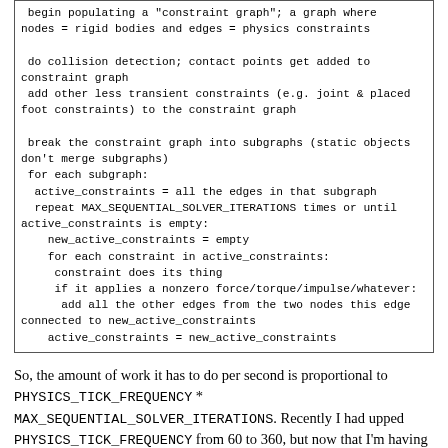begin populating a "constraint graph"; a graph where
nodes = rigid bodies and edges = physics constraints

 do collision detection; contact points get added to
constraint graph
 add other less transient constraints (e.g. joint & placed
foot constraints) to the constraint graph

 break the constraint graph into subgraphs (static objects
don't merge subgraphs)
 for each subgraph:
  active_constraints = all the edges in that subgraph
  repeat MAX_SEQUENTIAL_SOLVER_ITERATIONS times or until
active_constraints is empty:
    new_active_constraints = empty
    for each constraint in active_constraints:
     constraint does its thing
     if it applies a nonzero force/torque/impulse/whatever:
      add all the other edges from the two nodes this edge
connected to new_active_constraints
    active_constraints = new_active_constraints
So, the amount of work it has to do per second is proportional to PHYSICS_TICK_FREQUENCY * MAX_SEQUENTIAL_SOLVER_ITERATIONS. Recently I had upped PHYSICS_TICK_FREQUENCY from 60 to 360, but now that I'm having performance issues I've changed it back. I also recently increased MAX_SEQUENTIAL_SOLVER_ITERATIONS from something like 30 to 200, but for again performance reasons I can't keep that up.
Anyway, problem is that whenever there's anything more complicated than a single rigid body colliding with a surface, the algorithm doesn't converge fast enough; it ends up going to the full MAX_SEQUENTIAL_SOLVER_ITERATIONS. And most of